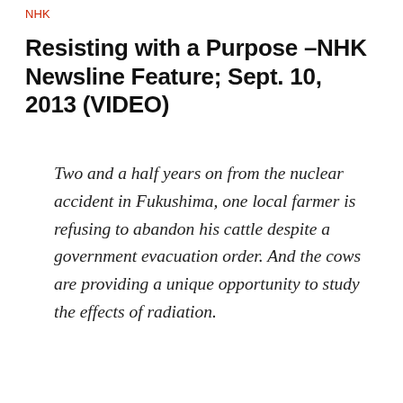NHK
Resisting with a Purpose –NHK Newsline Feature; Sept. 10, 2013 (VIDEO)
Two and a half years on from the nuclear accident in Fukushima, one local farmer is refusing to abandon his cattle despite a government evacuation order. And the cows are providing a unique opportunity to study the effects of radiation.